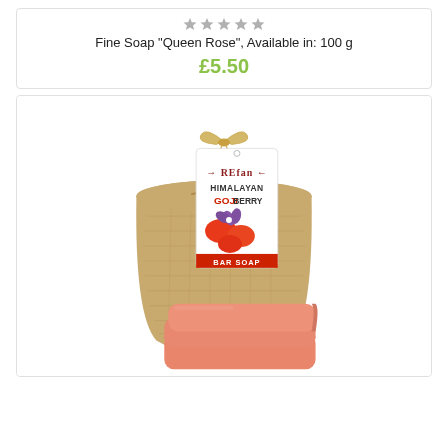[Figure (other): Five grey star rating icons in a row]
Fine Soap "Queen Rose", Available in: 100 g
£5.50
[Figure (photo): Refan Himalayan Goji Berry Bar Soap product photo showing a burlap bag with a labeled tag and two pink soap bars in front]